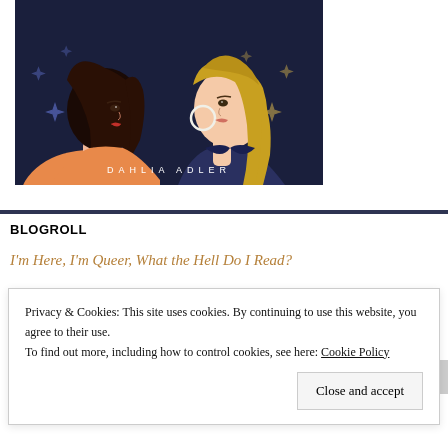[Figure (illustration): Book cover illustration by Dahlia Adler showing two figures facing each other — one with dark hair wearing orange, one with blonde hair wearing a dark jacket — against a dark navy background with star decorations. Author name 'DAHLIA ADLER' in white spaced letters at the bottom.]
BLOGROLL
I'm Here, I'm Queer, What the Hell Do I Read?
Privacy & Cookies: This site uses cookies. By continuing to use this website, you agree to their use.
To find out more, including how to control cookies, see here: Cookie Policy
Close and accept